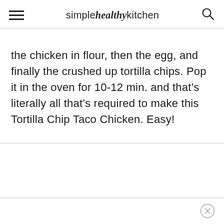simple healthy kitchen
the chicken in flour, then the egg, and finally the crushed up tortilla chips. Pop it in the oven for 10-12 min. and that’s literally all that’s required to make this Tortilla Chip Taco Chicken. Easy!